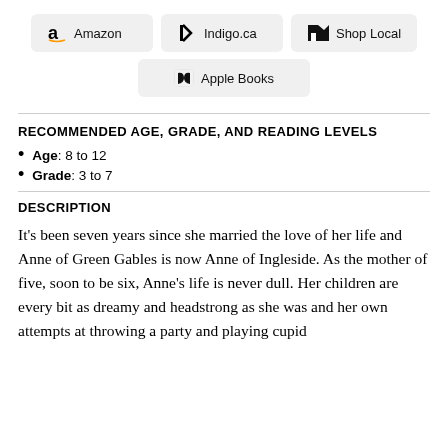[Figure (other): Three retailer buttons in a row: Amazon, Indigo.ca, Shop Local]
[Figure (other): One retailer button centered: Apple Books]
RECOMMENDED AGE, GRADE, AND READING LEVELS
Age: 8 to 12
Grade: 3 to 7
DESCRIPTION
It’s been seven years since she married the love of her life and Anne of Green Gables is now Anne of Ingleside. As the mother of five, soon to be six, Anne’s life is never dull. Her children are every bit as dreamy and headstrong as she was and her own attempts at throwing a party and playing cupid